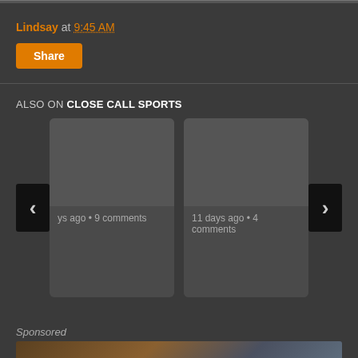Lindsay at 9:45 AM
Share
ALSO ON CLOSE CALL SPORTS
[Figure (screenshot): Card with image area and text showing '...ys ago • 9 comments']
[Figure (screenshot): Card with image area and text showing '11 days ago • 4 comments']
Sponsored
[Figure (photo): Sponsored image banner at bottom of page]